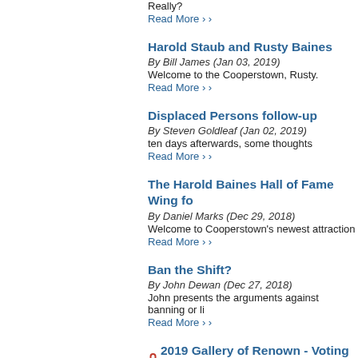Really?
Read More ›
Harold Staub and Rusty Baines
By Bill James (Jan 03, 2019)
Welcome to the Cooperstown, Rusty.
Read More ›
Displaced Persons follow-up
By Steven Goldleaf (Jan 02, 2019)
ten days afterwards, some thoughts
Read More ›
The Harold Baines Hall of Fame Wing fo
By Daniel Marks (Dec 29, 2018)
Welcome to Cooperstown's newest attraction
Read More ›
Ban the Shift?
By John Dewan (Dec 27, 2018)
John presents the arguments against banning or li
Read More ›
🔒 2019 Gallery of Renown - Voting Result
By Daniel Marks (Dec 27, 2018)